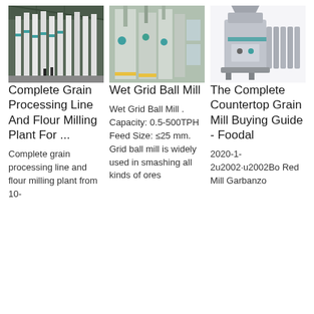[Figure (photo): Industrial grain processing line with white vertical equipment in a warehouse]
[Figure (photo): Wet Grid Ball Mill industrial machinery in a factory setting]
[Figure (photo): Countertop grain mill machine on white background]
Complete Grain Processing Line And Flour Milling Plant For ...
Wet Grid Ball Mill
The Complete Countertop Grain Mill Buying Guide - Foodal
Complete grain processing line and flour milling plant from 10-
Wet Grid Ball Mill . Capacity: 0.5-500TPH Feed Size: ≤25 mm. Grid ball mill is widely used in smashing all kinds of ores
2020-1-2u2002·u2002Bo Red Mill Garbanzo